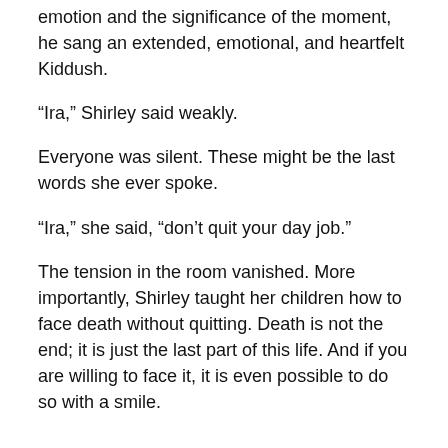emotion and the significance of the moment, he sang an extended, emotional, and heartfelt Kiddush.
“Ira,” Shirley said weakly.
Everyone was silent. These might be the last words she ever spoke.
“Ira,” she said, “don’t quit your day job.”
The tension in the room vanished. More importantly, Shirley taught her children how to face death without quitting. Death is not the end; it is just the last part of this life. And if you are willing to face it, it is even possible to do so with a smile.
Rabbi Daniel Rose is the rabbi at Bnai Jacob Shaarei Zion Congregation in Baltimore, Maryland. He used to serve as the chaplain and director of Jewish